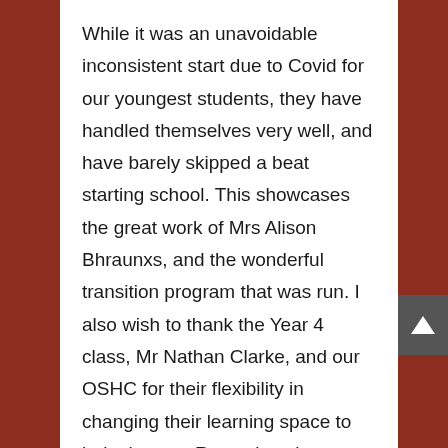While it was an unavoidable inconsistent start due to Covid for our youngest students, they have handled themselves very well, and have barely skipped a beat starting school. This showcases the great work of Mrs Alison Bhraunxs, and the wonderful transition program that was run. I also wish to thank the Year 4 class, Mr Nathan Clarke, and our OSHC for their flexibility in changing their learning space to help the new Reception class settle in.
During the recent lockdown, we were very proud of the work achieved by our students, as well as the resilience they demonstrated, and the